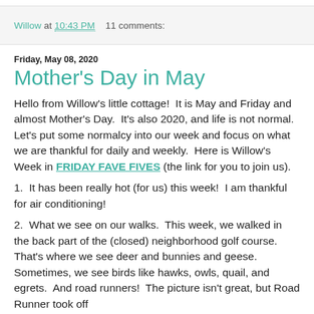Willow at 10:43 PM    11 comments:
Friday, May 08, 2020
Mother's Day in May
Hello from Willow's little cottage!  It is May and Friday and almost Mother's Day.  It's also 2020, and life is not normal.  Let's put some normalcy into our week and focus on what we are thankful for daily and weekly.  Here is Willow's Week in FRIDAY FAVE FIVES (the link for you to join us).
1.  It has been really hot (for us) this week!  I am thankful for air conditioning!
2.  What we see on our walks.  This week, we walked in the back part of the (closed) neighborhood golf course.  That's where we see deer and bunnies and geese.  Sometimes, we see birds like hawks, owls, quail, and egrets.  And road runners!  The picture isn't great, but Road Runner took off